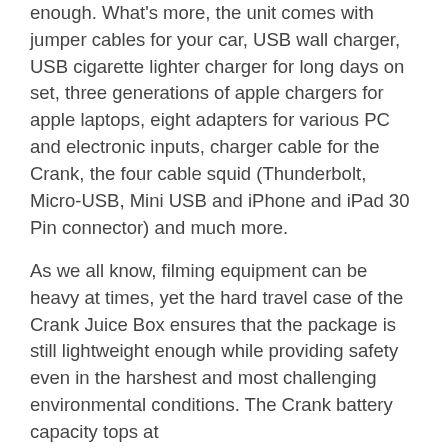enough. What's more, the unit comes with jumper cables for your car, USB wall charger, USB cigarette lighter charger for long days on set, three generations of apple chargers for apple laptops, eight adapters for various PC and electronic inputs, charger cable for the Crank, the four cable squid (Thunderbolt, Micro-USB, Mini USB and iPhone and iPad 30 Pin connector) and much more.
As we all know, filming equipment can be heavy at times, yet the hard travel case of the Crank Juice Box ensures that the package is still lightweight enough while providing safety even in the harshest and most challenging environmental conditions. The Crank battery capacity tops at